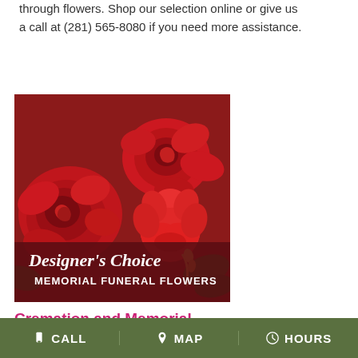through flowers. Shop our selection online or give us a call at (281) 565-8080 if you need more assistance.
[Figure (photo): Designer's Choice Memorial Funeral Flowers — photo of red roses and carnations with script text overlay]
Cremation and Memorial
Cremation and Memorial Flowers
CALL   MAP   HOURS